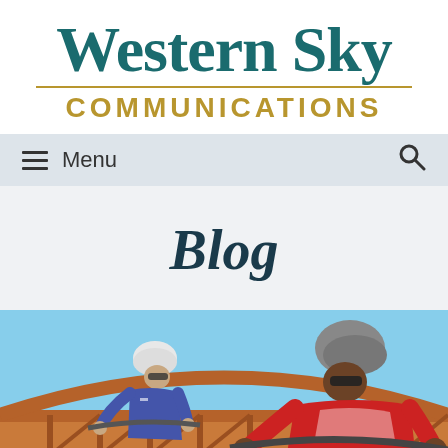Western Sky COMMUNICATIONS
Menu
Blog
[Figure (photo): Two cyclists wearing helmets riding across a red/brown iron bridge structure against a blue sky background]